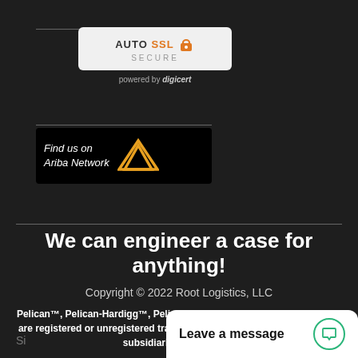[Figure (logo): AUTO SSL SECURE badge powered by DigiCert]
[Figure (logo): Find us on Ariba Network badge with golden A logo]
We can engineer a case for anything!
Copyright © 2022 Root Logistics, LLC
Pelican™, Pelican-Hardigg™, Pelican™ Cases, Pelican™ Storm Case™ are registered or unregistered trademarks of Pelican Products, Inc., its subsidiaries or affiliates.
Leave a message